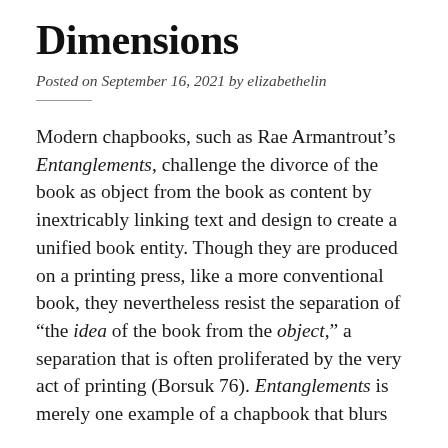Dimensions
Posted on September 16, 2021 by elizabethelin
Modern chapbooks, such as Rae Armantrout’s Entanglements, challenge the divorce of the book as object from the book as content by inextricably linking text and design to create a unified book entity. Though they are produced on a printing press, like a more conventional book, they nevertheless resist the separation of “the idea of the book from the object,” a separation that is often proliferated by the very act of printing (Borsuk 76). Entanglements is merely one example of a chapbook that blurs the line between its physical and conceptual dimensions.